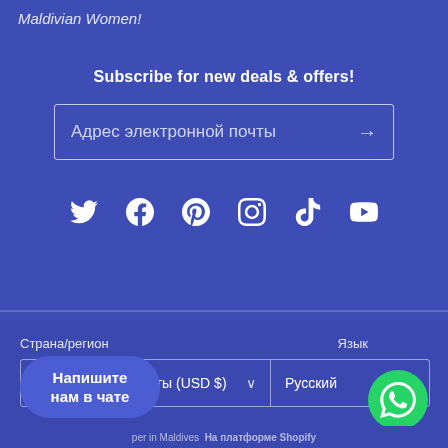Maldivian Women!
Subscribe for new deals & offers!
Адрес электронной почты
Social media icons: Twitter, Facebook, Pinterest, Instagram, TikTok, YouTube
Страна/регион
Язык
Соединенные Штаты (USD $)
Русский
Напишите нам в чате
per in Maldives На платформе Shopify